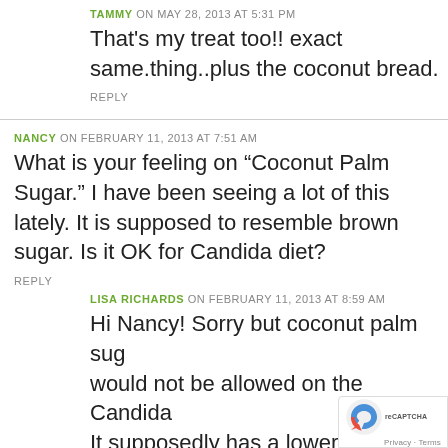TAMMY ON MAY 28, 2013 AT 5:31 PM
That's my treat too!! exact same.thing..plus the coconut bread.
REPLY
NANCY ON FEBRUARY 11, 2013 AT 7:51 AM
What is your feeling on “Coconut Palm Sugar.” I have been seeing a lot of this lately. It is supposed to resemble brown sugar. Is it OK for Candida diet?
REPLY
LISA RICHARDS ON FEBRUARY 11, 2013 AT 8:59 AM
Hi Nancy! Sorry but coconut palm sug would not be allowed on the Candida It supposedly has a lower glycemic index